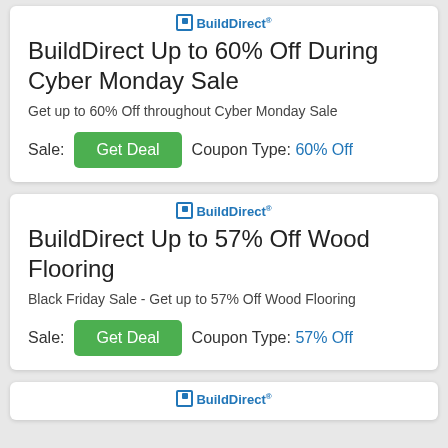[Figure (logo): BuildDirect logo with square icon]
BuildDirect Up to 60% Off During Cyber Monday Sale
Get up to 60% Off throughout Cyber Monday Sale
Sale: [Get Deal] Coupon Type: 60% Off
[Figure (logo): BuildDirect logo with square icon]
BuildDirect Up to 57% Off Wood Flooring
Black Friday Sale - Get up to 57% Off Wood Flooring
Sale: [Get Deal] Coupon Type: 57% Off
[Figure (logo): BuildDirect logo with square icon (partial)]